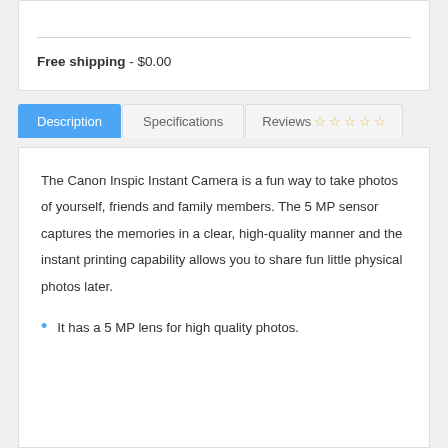Free shipping - $0.00
Description | Specifications | Reviews
The Canon Inspic Instant Camera is a fun way to take photos of yourself, friends and family members. The 5 MP sensor captures the memories in a clear, high-quality manner and the instant printing capability allows you to share fun little physical photos later.
It has a 5 MP lens for high quality photos.